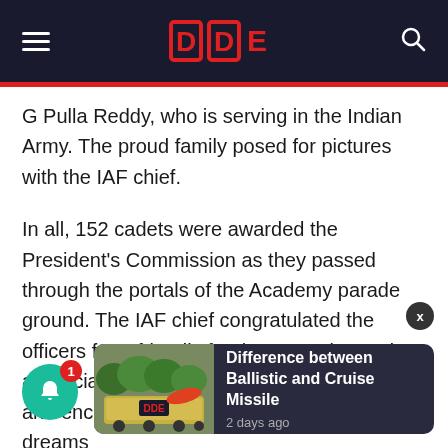DDE (logo)
G Pulla Reddy, who is serving in the Indian Army. The proud family posed for pictures with the IAF chief.
In all, 152 cadets were awarded the President's Commission as they passed through the portals of the Academy parade ground. The IAF chief congratulated the officers from friendly foreign countries and appreciated the parents for having supported and encouraged their wards to pursue their dreams
[Figure (screenshot): Notification popup card showing 'Difference between Ballistic and Cruise Missile' with thumbnail image and '2 days ago' timestamp]